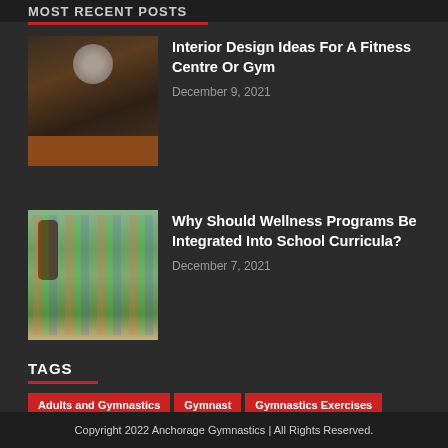MOST RECENT POSTS
[Figure (photo): Interior photo of a fitness center/gym with equipment and orange floor]
Interior Design Ideas For A Fitness Centre Or Gym
December 9, 2021
[Figure (photo): Group of children and adults outdoors near trees]
Why Should Wellness Programs Be Integrated Into School Curricula?
December 7, 2021
TAGS
Adults and Gymnastics
Gymnast
Gymnastics Exercises
Copyright 2022 Anchorage Gymnastics | All Rights Reserved.